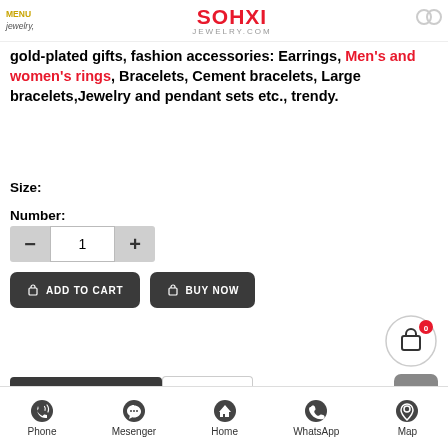MENU jewelry | SOHXI JEWELRY.COM
gold-plated gifts, fashion accessories: Earrings, Men's and women's rings, Bracelets, Cement bracelets, Large bracelets,Jewelry and pendant sets etc., trendy.
Size:
Number:
1 (quantity control with - and + buttons)
ADD TO CART   BUY NOW
Products Information   Comment
Phone  Mesenger  Home  WhatsApp  Map